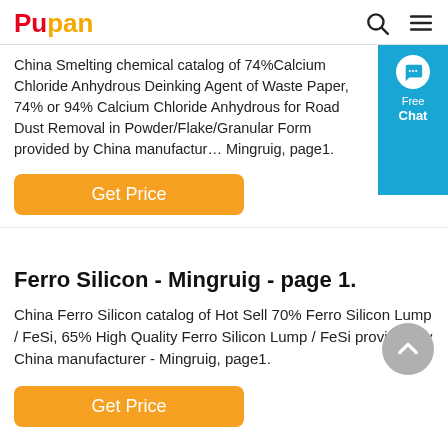Pupan
China Smelting chemical catalog of 74%Calcium Chloride Anhydrous Deinking Agent of Waste Paper, 74% or 94% Calcium Chloride Anhydrous for Road Dust Removal in Powder/Flake/Granular Form provided by China manufacturer - Mingruig, page1.
[Figure (other): Orange 'Get Price' button]
[Figure (other): Blue chat widget with speech bubble icon, 'Free Chat' text]
Ferro Silicon - Mingruig - page 1.
China Ferro Silicon catalog of Hot Sell 70% Ferro Silicon Lump / FeSi, 65% High Quality Ferro Silicon Lump / FeSi provided by China manufacturer - Mingruig, page1.
[Figure (other): Gray scroll-to-top circular button with up arrow]
[Figure (other): Orange 'Get Price' button]